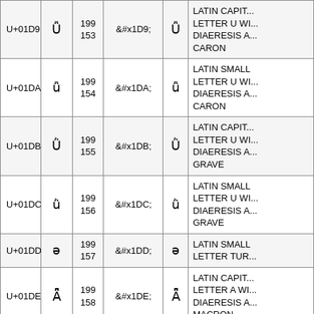| Code | Char | Dec | HTML Entity | Char | Name |
| --- | --- | --- | --- | --- | --- |
| U+01D9 | Ǚ | 199
153 | &#x1D9; | Ǚ | LATIN CAPITAL LETTER U WITH DIAERESIS AND CARON |
| U+01DA | ǚ | 199
154 | &#x1DA; | ǚ | LATIN SMALL LETTER U WITH DIAERESIS AND CARON |
| U+01DB | Ǜ | 199
155 | &#x1DB; | Ǜ | LATIN CAPITAL LETTER U WITH DIAERESIS AND GRAVE |
| U+01DC | ǜ | 199
156 | &#x1DC; | ǜ | LATIN SMALL LETTER U WITH DIAERESIS AND GRAVE |
| U+01DD | ə | 199
157 | &#x1DD; | ə | LATIN SMALL LETTER TURNED E |
| U+01DE | Ǟ | 199
158 | &#x1DE; | Ǟ | LATIN CAPITAL LETTER A WITH DIAERESIS AND MACRON |
| U+01DF | ǟ | 199
159 | &#x1DF; | ǟ | LATIN SMALL LETTER A WITH DIAERESIS AND MACRON |